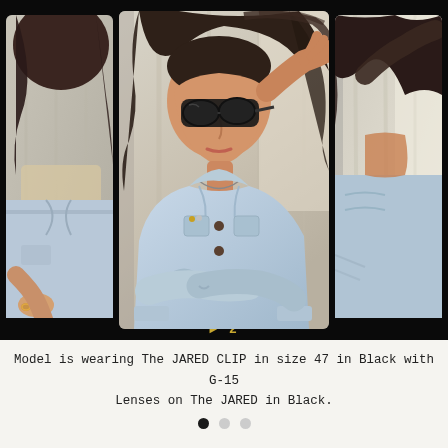[Figure (photo): Film strip style layout showing three panels of a model wearing a light blue denim jacket and black sunglasses. The center panel is larger and shows the model looking down with one hand raised to her head. Left and right panels show partial views of the same or similar poses. The strip has a black background with amber film number '►2' at the bottom.]
Model is wearing The JARED CLIP in size 47 in Black with G-15 Lenses on The JARED in Black.